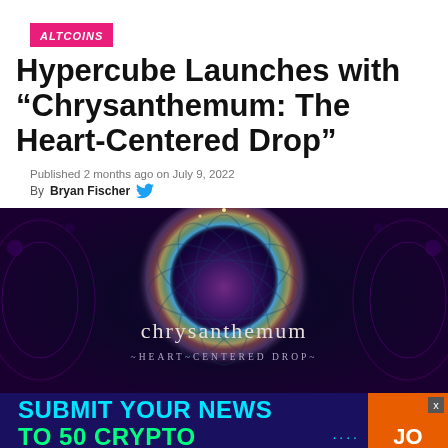ALTCOINS
Hypercube Launches with “Chrysanthemum: The Heart-Centered Drop”
Published 2 months ago on July 9, 2022
By Bryan Fischer
[Figure (photo): Psychedelic fractal art image showing a glowing chrysanthemum pattern with rainbow halo on dark background. Text overlay reads 'chrysanthemum' and '~HEART~CENTERED DROP~']
[Figure (infographic): Dark navy advertisement banner reading 'SUBMIT YOUR NEWS TO 50 CRYPTO WEBSITES' with cyan and green text, dots pattern, and orange button with 'JO' visible. Close button (x) in upper right.]